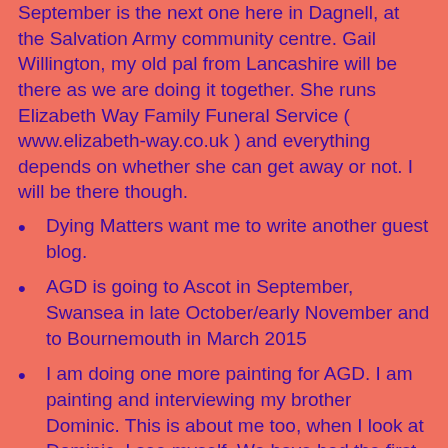September is the next one here in Dagnell, at the Salvation Army community centre.  Gail Willington, my old pal from Lancashire will be there as we are doing it together.  She runs Elizabeth Way Family Funeral Service ( www.elizabeth-way.co.uk ) and everything depends on whether she can get away or not.  I will be there though.
Dying Matters want me to write another guest blog.
AGD is going to Ascot in September, Swansea in late October/early November and to Bournemouth in March 2015
I am doing one more painting for AGD.  I am painting and interviewing my brother Dominic.  This is about me too, when I look at Dominic, I see myself.  We have had the first interview, and we have decided how I will paint him.  This collaboration is unashamedly about me too.
I have a new commission following on from the idea of God's Study, a painting of a snapshot of God's